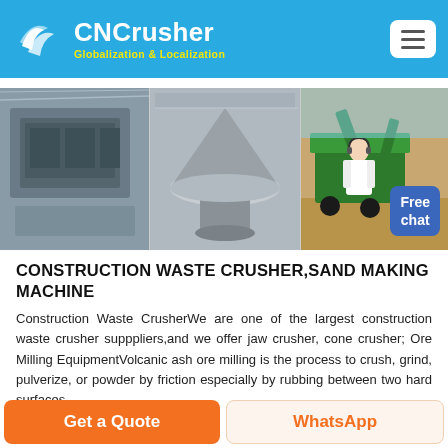CNCrusher Globalization & Localization
[Figure (photo): Banner with three photos: industrial crusher machine inside factory, large cone crusher machine, green mobile screening plant outdoors. Free chat badge overlay with customer service person.]
CONSTRUCTION WASTE CRUSHER,SAND MAKING MACHINE
Construction Waste CrusherWe are one of the largest construction waste crusher supppliers,and we offer jaw crusher, cone crusher; Ore Milling EquipmentVolcanic ash ore milling is the process to crush, grind, pulverize, or powder by friction especially by rubbing between two hard surfaces.
Get a Quote | WhatsApp